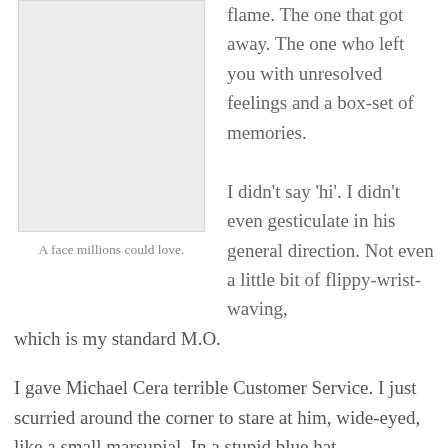flame. The one that got away. The one who left you with unresolved feelings and a box-set of memories.
[Figure (illustration): A light grey rectangular placeholder image]
A face millions could love.
I didn't say 'hi'. I didn't even gesticulate in his general direction. Not even a little bit of flippy-wrist-waving, which is my standard M.O.
I gave Michael Cera terrible Customer Service. I just scurried around the corner to stare at him, wide-eyed, like a small marsupial. In a stupid blue hat.
And I'll never forgive myself. And I'll never forget. Because he could totally have been the jewel in my Instagram collection. Talk about opportunity wasted.
It was at this point in my life I discovered that really cool